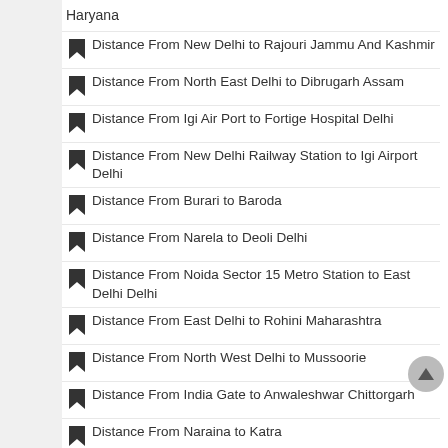Haryana
Distance From New Delhi to Rajouri Jammu And Kashmir
Distance From North East Delhi to Dibrugarh Assam
Distance From Igi Air Port to Fortige Hospital Delhi
Distance From New Delhi Railway Station to Igi Airport Delhi
Distance From Burari to Baroda
Distance From Narela to Deoli Delhi
Distance From Noida Sector 15 Metro Station to East Delhi Delhi
Distance From East Delhi to Rohini Maharashtra
Distance From North West Delhi to Mussoorie
Distance From India Gate to Anwaleshwar Chittorgarh
Distance From Naraina to Katra
Distance From North Delhi to Sitapur Uttar Pradesh
Distance From Railway Bridge Ring Road to Khiri Buxar